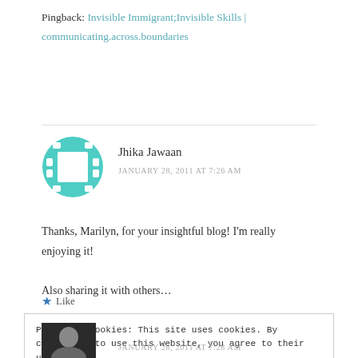Pingback: Invisible Immigrant;Invisible Skills | communicating.across.boundaries
[Figure (illustration): Teal circular avatar with film strip dots around the border and a white square in the center]
Jhika Jawaan
JANUARY 28, 2011 AT 7:26 AM
Thanks, Marilyn, for your insightful blog! I'm really enjoying it! Also sharing it with others…
★ Like
Privacy & Cookies: This site uses cookies. By continuing to use this website, you agree to their use. To find out more, including how to control cookies, see here: Cookie Policy
Close and accept
JANUARY 28, 2011 AT 7:28 AM